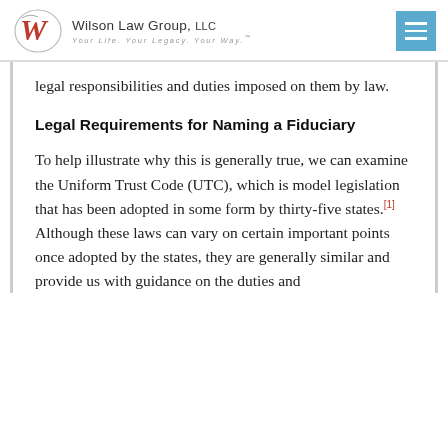Wilson Law Group, LLC — Your Life. Your Legacy. Your Way.
legal responsibilities and duties imposed on them by law.
Legal Requirements for Naming a Fiduciary
To help illustrate why this is generally true, we can examine the Uniform Trust Code (UTC), which is model legislation that has been adopted in some form by thirty-five states.[1] Although these laws can vary on certain important points once adopted by the states, they are generally similar and provide us with guidance on the duties and